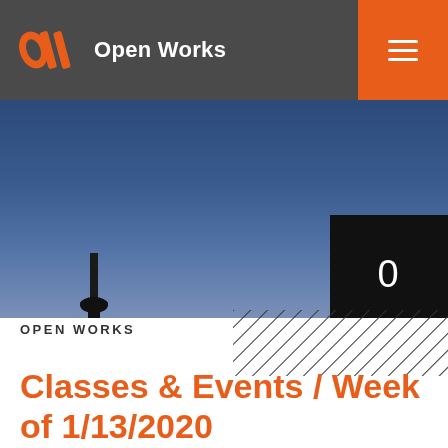[Figure (logo): Open Works logo with orange stylized W icon and white text 'Open Works' on dark gray header with orange hamburger menu button]
[Figure (photo): Photo of dark blue sky with industrial equipment silhouette at bottom left, and a black box showing the number 0 at right]
OPEN WORKS
Classes & Events / Week of 1/13/2020